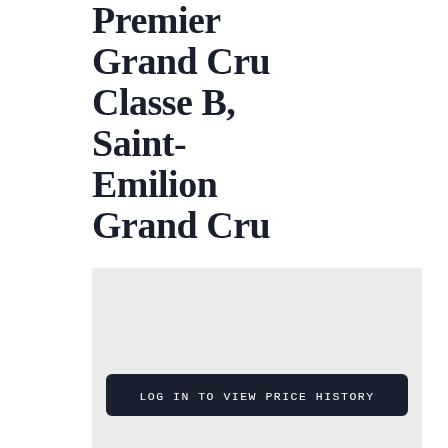Premier Grand Cru Classe B, Saint-Emilion Grand Cru
[Figure (other): Blurred/locked price history chart area with a dark login button overlay reading 'LOG IN TO VIEW PRICE HISTORY']